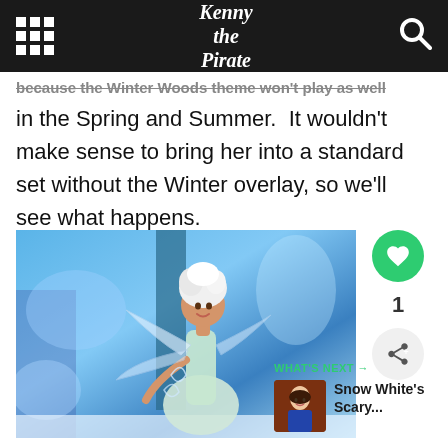Kenny the Pirate
because the Winter Woods theme won't play as well in the Spring and Summer.  It wouldn't make sense to bring her into a standard set without the Winter overlay, so we'll see what happens.
[Figure (photo): A performer dressed as a winter fairy/Tinker Bell character with white hair, translucent wings, and a light blue dress poses in front of a blue winter-themed backdrop.]
1
WHAT'S NEXT → Snow White's Scary...